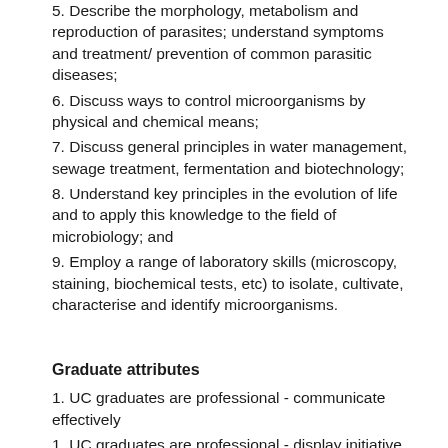5. Describe the morphology, metabolism and reproduction of parasites; understand symptoms and treatment/ prevention of common parasitic diseases;
6. Discuss ways to control microorganisms by physical and chemical means;
7. Discuss general principles in water management, sewage treatment, fermentation and biotechnology;
8. Understand key principles in the evolution of life and to apply this knowledge to the field of microbiology; and
9. Employ a range of laboratory skills (microscopy, staining, biochemical tests, etc) to isolate, cultivate, characterise and identify microorganisms.
Graduate attributes
1. UC graduates are professional - communicate effectively
1. UC graduates are professional - display initiative and drive, and use their organisation